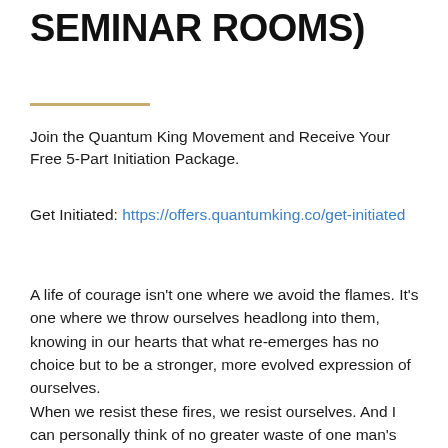SEMINAR ROOMS)
Join the Quantum King Movement and Receive Your Free 5-Part Initiation Package.
Get Initiated: https://offers.quantumking.co/get-initiated
A life of courage isn't one where we avoid the flames. It's one where we throw ourselves headlong into them, knowing in our hearts that what re-emerges has no choice but to be a stronger, more evolved expression of ourselves.
When we resist these fires, we resist ourselves. And I can personally think of no greater waste of one man's life.